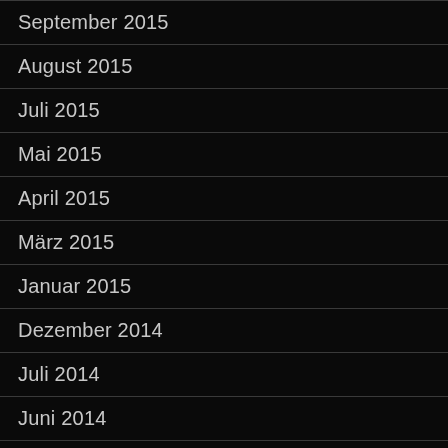September 2015
August 2015
Juli 2015
Mai 2015
April 2015
März 2015
Januar 2015
Dezember 2014
Juli 2014
Juni 2014
Mai 2014
April 2014
März 2014